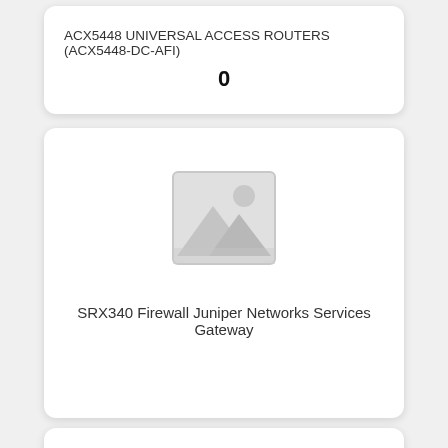ACX5448 UNIVERSAL ACCESS ROUTERS (ACX5448-DC-AFI)
0
[Figure (illustration): Placeholder image icon showing a mountain/landscape silhouette with a sun, inside a square frame with rounded corners, gray colored.]
SRX340 Firewall Juniper Networks Services Gateway